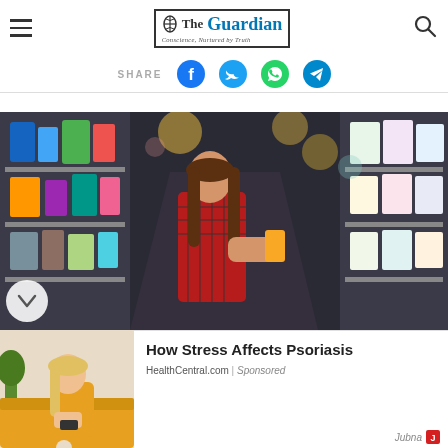The Guardian
SHARE
[Figure (photo): Woman in plaid shirt reading a product label in a supermarket aisle with shelves of products]
[Figure (photo): Sponsored ad image of a woman sitting on a couch]
How Stress Affects Psoriasis
HealthCentral.com | Sponsored
Jubna